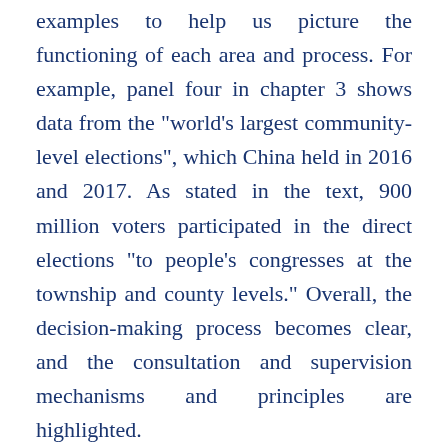examples to help us picture the functioning of each area and process. For example, panel four in chapter 3 shows data from the "world's largest community-level elections", which China held in 2016 and 2017. As stated in the text, 900 million voters participated in the direct elections "to people's congresses at the township and county levels." Overall, the decision-making process becomes clear, and the consultation and supervision mechanisms and principles are highlighted.
"Democracy is a political form that has taken shape over the course of thousands of years. It has played a